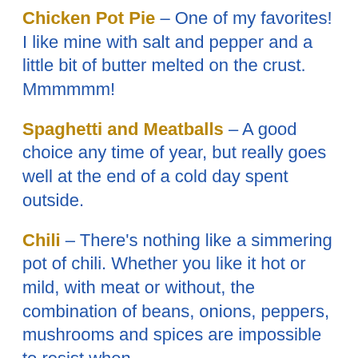Chicken Pot Pie – One of my favorites! I like mine with salt and pepper and a little bit of butter melted on the crust. Mmmmmm!
Spaghetti and Meatballs – A good choice any time of year, but really goes well at the end of a cold day spent outside.
Chili – There's nothing like a simmering pot of chili. Whether you like it hot or mild, with meat or without, the combination of beans, onions, peppers, mushrooms and spices are impossible to resist when